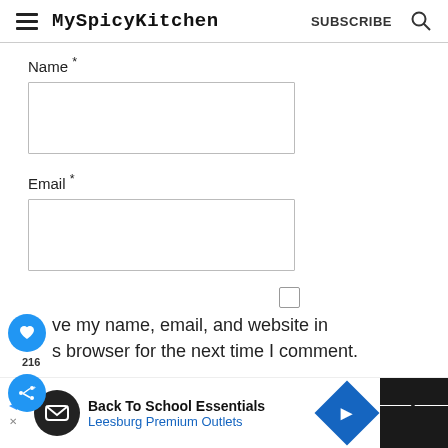MySpicyKitchen  SUBSCRIBE
Name *
Email *
Save my name, email, and website in this browser for the next time I comment.
POST COMMENT
Back To School Essentials  Leesburg Premium Outlets